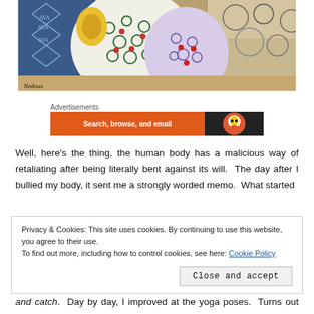[Figure (photo): Photo of patterned fabric clothing (green/white floral and red rose patterns) hanging, with decorative artworks in background. 'Nedoux' signature in bottom left corner.]
Advertisements
[Figure (screenshot): Advertisement banner: orange section with text 'Search, browse, and email' and dark section with DuckDuckGo logo.]
Well, here's the thing, the human body has a malicious way of retaliating after being literally bent against its will. The day after I bullied my body, it sent me a strongly worded memo. What started
Privacy & Cookies: This site uses cookies. By continuing to use this website, you agree to their use.
To find out more, including how to control cookies, see here: Cookie Policy
Close and accept
and catch. Day by day, I improved at the yoga poses. Turns out the